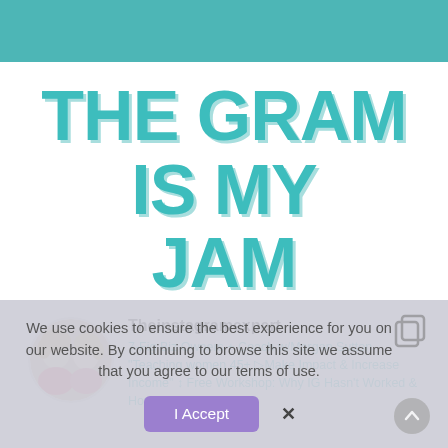THE GRAM IS MY JAM
[Figure (photo): Circular profile photo of two women, one wearing pink]
Theinstagramexpert
7-Fig Biz Owners + Coach w/Morgan Sutton
"Teaching women 45+ ▷Make Impact & Increase Income" ↕ Free Workshop: Why IG Hasn't Worked &
How to Fix It
We use cookies to ensure the best experience for you on our website. By continuing to browse this site we assume that you agree to our terms of use.
I Accept   ✕